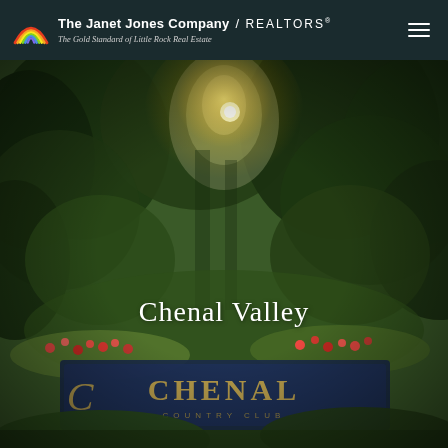[Figure (logo): The Janet Jones Company / REALTORS logo with rainbow arc icon and tagline 'The Gold Standard of Little Rock Real Estate' on dark teal/navy header background, with hamburger menu icon on right]
[Figure (photo): Outdoor photo of Chenal Country Club entrance sign surrounded by lush green trees with sunlight filtering through, flowers in foreground. The Chenal Valley neighborhood entrance with the 'CHENAL COUNTRY CLUB' sign visible.]
Chenal Valley